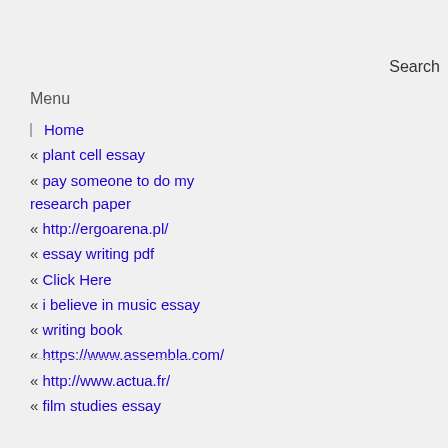Search
Menu
Home
« plant cell essay
« pay someone to do my research paper
« http://ergoarena.pl/
« essay writing pdf
« Click Here
« i believe in music essay
« writing book
« https://www.assembla.com/
« http://www.actua.fr/
« film studies essay